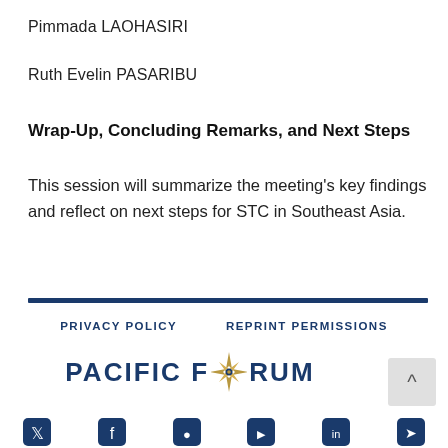Pimmada LAOHASIRI
Ruth Evelin PASARIBU
Wrap-Up, Concluding Remarks, and Next Steps
This session will summarize the meeting’s key findings and reflect on next steps for STC in Southeast Asia.
PRIVACY POLICY   REPRINT PERMISSIONS
[Figure (logo): Pacific Forum logo with star compass design between 'PACIFIC F' and 'RUM']